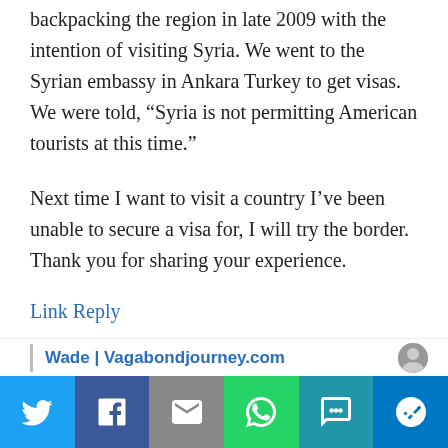backpacking the region in late 2009 with the intention of visiting Syria. We went to the Syrian embassy in Ankara Turkey to get visas. We were told, “Syria is not permitting American tourists at this time.”
Next time I want to visit a country I’ve been unable to secure a visa for, I will try the border. Thank you for sharing your experience.
Link Reply
Wade | Vagabondjourney.com
[Figure (infographic): Social sharing bar at the bottom with icons for Twitter, Facebook, Email, WhatsApp, SMS, and More]